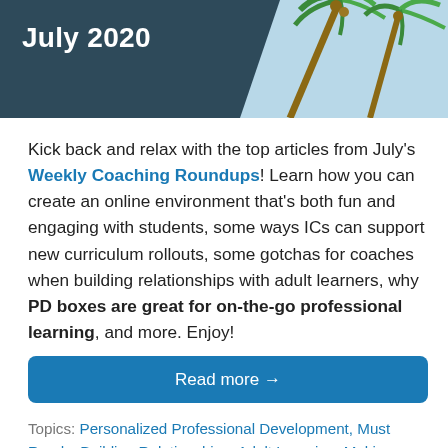July 2020
Kick back and relax with the top articles from July's Weekly Coaching Roundups! Learn how you can create an online environment that's both fun and engaging with students, some ways ICs can support new curriculum rollouts, some gotchas for coaches when building relationships with adult learners, why PD boxes are great for on-the-go professional learning, and more. Enjoy!
Read more →
Topics: Personalized Professional Development, Must Reads, Building Relationships, Adult Learning, Making